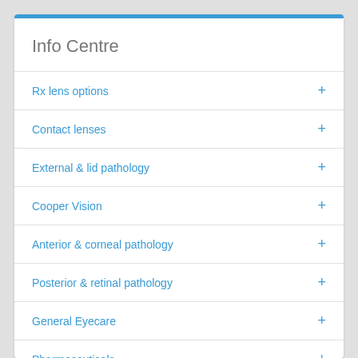Info Centre
Rx lens options
Contact lenses
External & lid pathology
Cooper Vision
Anterior & corneal pathology
Posterior & retinal pathology
General Eyecare
Pharmaceuticals
Refractive conditions